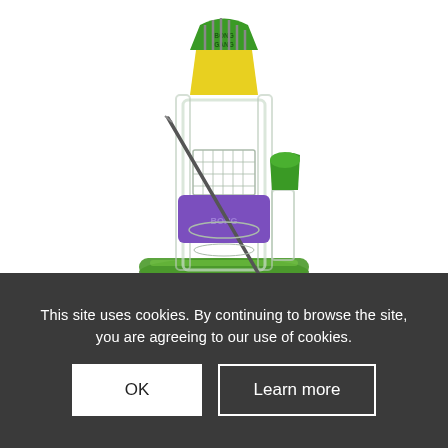[Figure (photo): Product photo of a glass water pipe/bong with green base, purple silicone sleeve, yellow and green silicone top piece labeled 'BONG GANG', a metal dabber tool, and a green glass bowl. A second partial item (glass piece) is visible at the bottom of the image area.]
This site uses cookies. By continuing to browse the site, you are agreeing to our use of cookies.
OK
Learn more